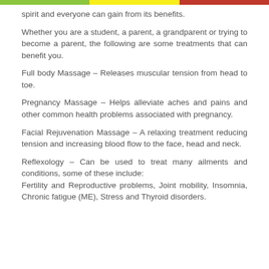spirit and everyone can gain from its benefits.
Whether you are a student, a parent, a grandparent or trying to become a parent, the following are some treatments that can benefit you.
Full body Massage – Releases muscular tension from head to toe.
Pregnancy Massage – Helps alleviate aches and pains and other common health problems associated with pregnancy.
Facial Rejuvenation Massage – A relaxing treatment reducing tension and increasing blood flow to the face, head and neck.
Reflexology – Can be used to treat many ailments and conditions, some of these include: Fertility and Reproductive problems, Joint mobility, Insomnia, Chronic fatigue (ME), Stress and Thyroid disorders.